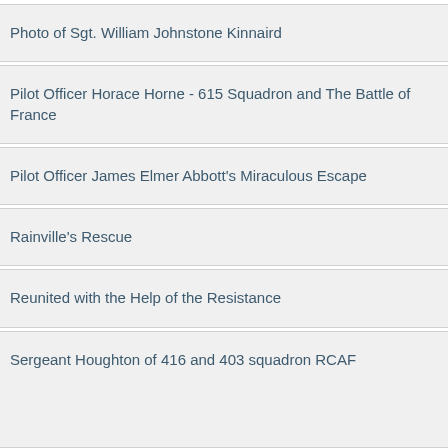Photo of Sgt. William Johnstone Kinnaird
Pilot Officer Horace Horne - 615 Squadron and The Battle of France
Pilot Officer James Elmer Abbott's Miraculous Escape
Rainville's Rescue
Reunited with the Help of the Resistance
Sergeant Houghton of 416 and 403 squadron RCAF